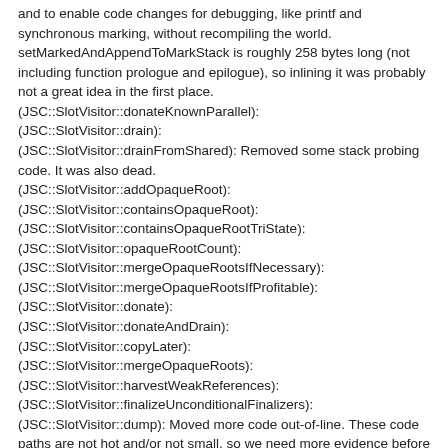and to enable code changes for debugging, like printf and synchronous marking, without recompiling the world.
setMarkedAndAppendToMarkStack is roughly 258 bytes long (not including function prologue and epilogue), so inlining it was probably not a great idea in the first place.
(JSC::SlotVisitor::donateKnownParallel):
(JSC::SlotVisitor::drain):
(JSC::SlotVisitor::drainFromShared): Removed some stack probing code. It was also dead.
(JSC::SlotVisitor::addOpaqueRoot):
(JSC::SlotVisitor::containsOpaqueRoot):
(JSC::SlotVisitor::containsOpaqueRootTriState):
(JSC::SlotVisitor::opaqueRootCount):
(JSC::SlotVisitor::mergeOpaqueRootsIfNecessary):
(JSC::SlotVisitor::mergeOpaqueRootsIfProfitable):
(JSC::SlotVisitor::donate):
(JSC::SlotVisitor::donateAndDrain):
(JSC::SlotVisitor::copyLater):
(JSC::SlotVisitor::mergeOpaqueRoots):
(JSC::SlotVisitor::harvestWeakReferences):
(JSC::SlotVisitor::finalizeUnconditionalFinalizers):
(JSC::SlotVisitor::dump): Moved more code out-of-line. These code paths are not hot and/or not small, so we need more evidence before we inline them. The SlotVisitor headers are included everywhere, so we should make them include less..
Removed "internal" from all function names because it wasn't applied in any consistent way that would mean anything.